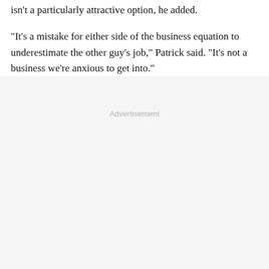isn't a particularly attractive option, he added.
"It's a mistake for either side of the business equation to underestimate the other guy's job," Patrick said. "It's not a business we're anxious to get into."
Advertisement